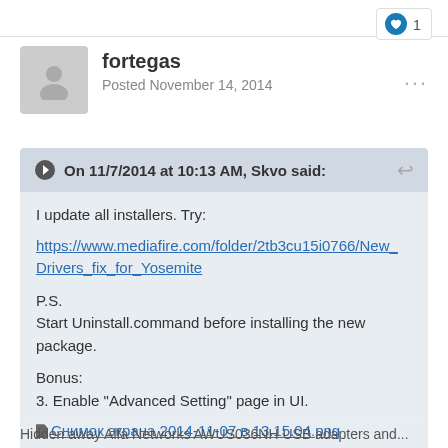[Figure (other): Like button with heart icon showing count of 1]
fortegas
Posted November 14, 2014
On 11/7/2014 at 10:13 AM, Skvo said:
I update all installers. Try:
https://www.mediafire.com/folder/2tb3cu15i0766/New_Drivers_fix_for_Yosemite

P.S.
Start Uninstall.command before installing the new package.

Bonus:
3. Enable "Advanced Setting" page in UI.
Снимок экрана 2014-11-07 в 13.15.04.png
Hidden away Alfa Networks AWUS036NH USB adapters and...